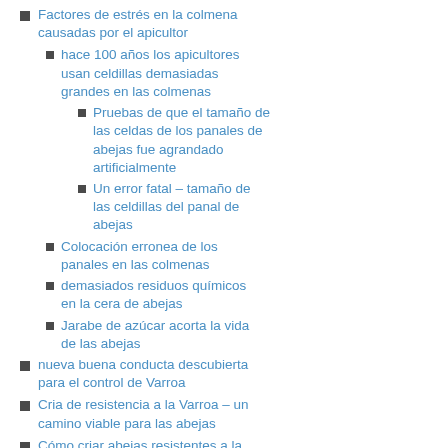Factores de estrés en la colmena causadas por el apicultor
hace 100 años los apicultores usan celdillas demasiadas grandes en las colmenas
Pruebas de que el tamaño de las celdas de los panales de abejas fue agrandado artificialmente
Un error fatal – tamaño de las celdillas del panal de abejas
Colocación erronea de los panales en las colmenas
demasiados residuos químicos en la cera de abejas
Jarabe de azúcar acorta la vida de las abejas
nueva buena conducta descubierta para el control de Varroa
Cria de resistencia a la Varroa – un camino viable para las abejas
Cómo criar abejas resistentes a la Varroa
¿Como se defienden las abejas SC